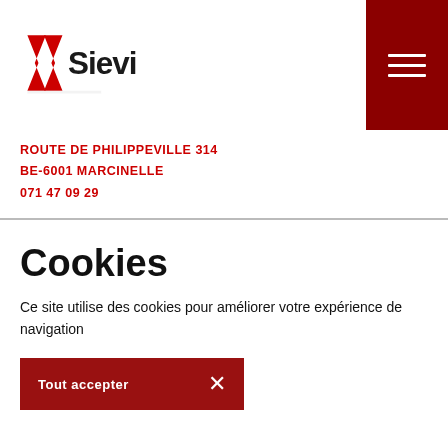[Figure (logo): Sievi company logo with two red chevron/arrow shapes and bold black text 'Sievi']
ROUTE DE PHILIPPEVILLE 314
BE-6001 MARCINELLE
071 47 09 29
Cookies
Ce site utilise des cookies pour améliorer votre expérience de navigation
Tout accepter ×